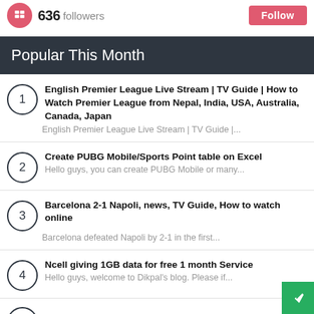636 followers
Popular This Month
1. English Premier League Live Stream | TV Guide | How to Watch Premier League from Nepal, India, USA, Australia, Canada, Japan — English Premier League Live Stream | TV Guide |...
2. Create PUBG Mobile/Sports Point table on Excel — Hello guys, you can create PUBG Mobile or many...
3. Barcelona 2-1 Napoli, news, TV Guide, How to watch online — Barcelona defeated Napoli by 2-1 in the first...
4. Ncell giving 1GB data for free 1 month Service — Hello guys, welcome to Dikpal's blog. Please if...
5. Check your NTC/Ncell/Smart Cell Simcards and...